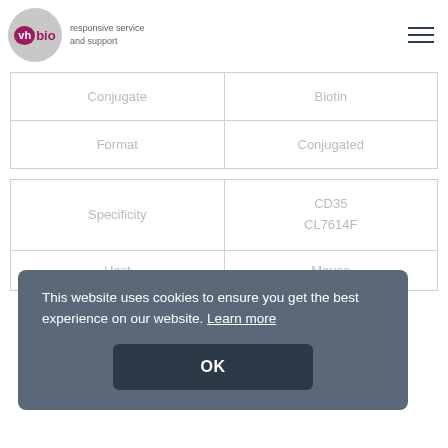vh bio — responsive service and support
| Conjugate | Biotin |
| --- | --- |
| Format | Conjugated |
| Specificity | CD35 CL7614F |
| --- | --- |
| Host | Mouse |
This website uses cookies to ensure you get the best experience on our website. Learn more
OK